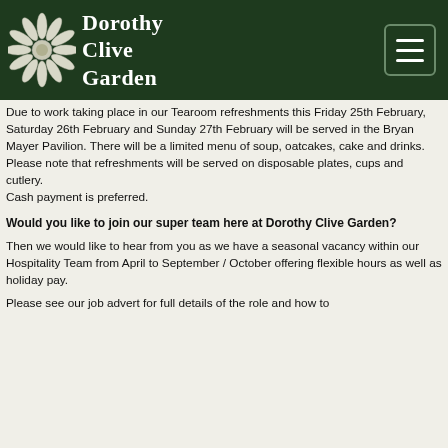Dorothy Clive Garden
Due to work taking place in our Tearoom refreshments this Friday 25th February, Saturday 26th February and Sunday 27th February will be served in the Bryan Mayer Pavilion. There will be a limited menu of soup, oatcakes, cake and drinks.
Please note that refreshments will be served on disposable plates, cups and cutlery.
Cash payment is preferred.
Would you like to join our super team here at Dorothy Clive Garden?
Then we would like to hear from you as we have a seasonal vacancy within our Hospitality Team from April to September / October offering flexible hours as well as holiday pay.
Please see our job advert for full details of the role and how to